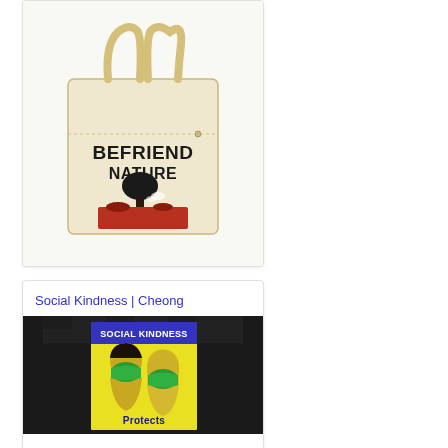[Figure (photo): A natural canvas tote bag with 'BEFRIEND NATURE' text and a graphic print of a tree and red landscape, photographed on white background.]
Social Kindness | Cheong
[Figure (photo): A poster on a dark brick wall reading 'SOCIAL KINDNESS' showing two people wearing green face masks, with text 'Protects' at the bottom. Yellow background on the poster.]